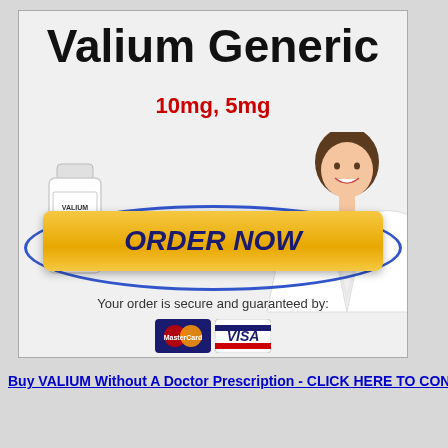[Figure (infographic): Pharmaceutical advertisement banner for Valium Generic 10mg, 5mg with pill bottle image, smiling woman in white coat, ORDER NOW button, MasterCard and Visa payment icons, and text 'Your order is secure and guaranteed by:']
Buy VALIUM Without A Doctor Prescription - CLICK HERE TO CONTINUE